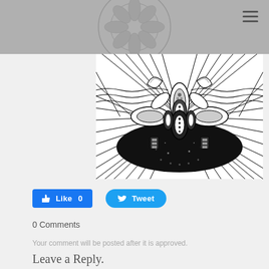[Figure (illustration): Black and white intricate mandala/zentangle illustration showing symmetrical floral and geometric patterns with dotwork, leaf shapes, and radiating lines]
Like 0   Tweet
0 Comments
Your comment will be posted after it is approved.
Leave a Reply.
Name (required)